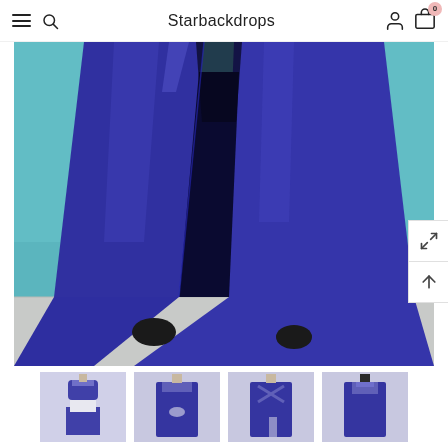Starbackdrops
[Figure (photo): Royal blue/purple long formal prom gown with high slit, shown from lower torso down on a mannequin, against a teal background. The dress has a deep front slit revealing the leg opening, and flows into a wide train.]
[Figure (photo): Thumbnail 1: Front view of two-piece royal blue beaded halter prom dress on mannequin]
[Figure (photo): Thumbnail 2: Front view of royal blue beaded high-neck prom dress with cutout on mannequin]
[Figure (photo): Thumbnail 3: Back view of royal blue two-piece prom dress showing cross-back straps on mannequin]
[Figure (photo): Thumbnail 4: Front view of royal blue beaded high-neck sleeveless prom dress on mannequin]